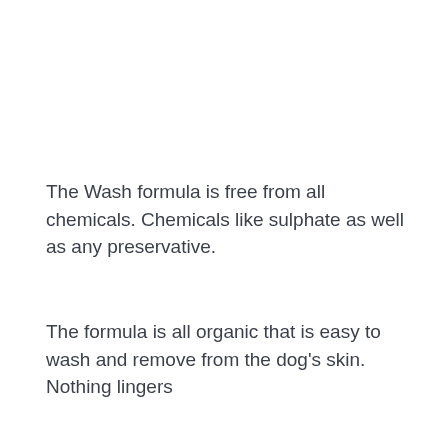The Wash formula is free from all chemicals. Chemicals like sulphate as well as any preservative.
The formula is all organic that is easy to wash and remove from the dog's skin. Nothing lingers